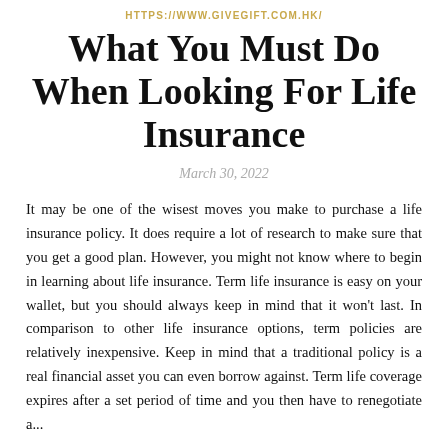HTTPS://WWW.GIVEGIFT.COM.HK/
What You Must Do When Looking For Life Insurance
March 30, 2022
It may be one of the wisest moves you make to purchase a life insurance policy. It does require a lot of research to make sure that you get a good plan. However, you might not know where to begin in learning about life insurance. Term life insurance is easy on your wallet, but you should always keep in mind that it won't last. In comparison to other life insurance options, term policies are relatively inexpensive. Keep in mind that a traditional policy is a real financial asset you can even borrow against. Term life coverage expires after a set period of time and you then have to renegotiate a...